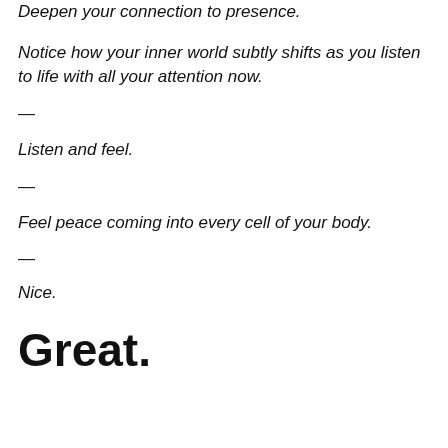Deepen your connection to presence.
Notice how your inner world subtly shifts as you listen to life with all your attention now.
—
Listen and feel.
—
Feel peace coming into every cell of your body.
—
Nice.
Great.